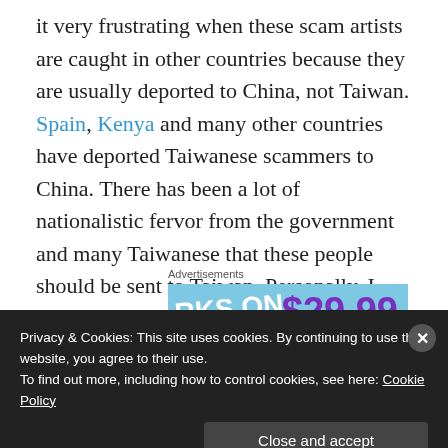it very frustrating when these scam artists are caught in other countries because they are usually deported to China, not Taiwan. Spain, Kenya and many other countries have deported Taiwanese scammers to China. There has been a lot of nationalistic fervor from the government and many Taiwanese that these people should be sent to Taiwan. Personally, I can't think of a worse punishment than them being sent to China for a crime. That is a real punishment all right.
Advertisements
[Figure (other): Advertisement banner with blue background showing partial text 'RKS ON' and price '$29.99' in purple]
Privacy & Cookies: This site uses cookies. By continuing to use this website, you agree to their use. To find out more, including how to control cookies, see here: Cookie Policy
Close and accept